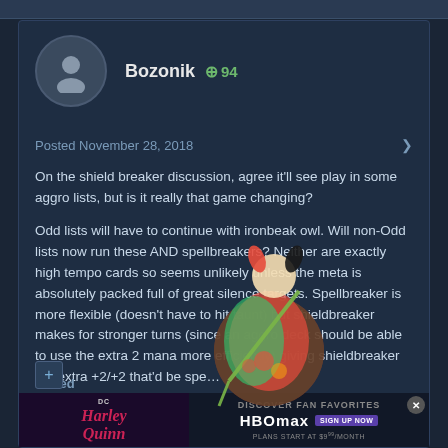Bozonik  +94
Posted November 28, 2018
On the shield breaker discussion, agree it'll see play in some aggro lists, but is it really that game changing?
Odd lists will have to continue with ironbeak owl. Will non-Odd lists now run these AND spellbreakers? Neither are exactly high tempo cards so seems unlikely unless the meta is absolutely packed full of great silence targets. Spellbreaker is more flexible (doesn't have to hit taunt) but shieldbreaker makes for stronger turns (since an aggro deck should be able to use the extra 2 mana more efficiently) giving shieldbreaker the extra +2/+2 that'd be spe…
Edited
[Figure (illustration): Harley Quinn illustrated character floating/swinging over the post content]
[Figure (screenshot): HBO Max advertisement banner: DISCOVER FAN FAVORITES, HBOMAX, SIGN UP NOW, PLANS START AT $9.99/MONTH, with Harley Quinn themed image on the left]